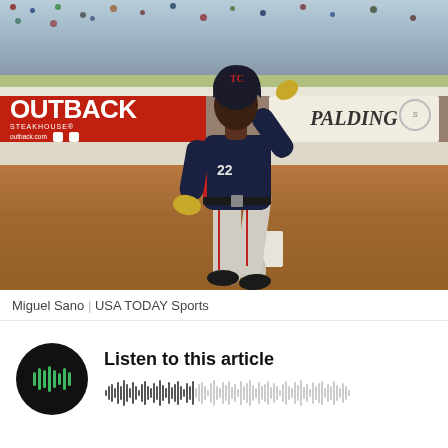[Figure (photo): Baseball player Miguel Sano in a Minnesota Twins uniform standing on a base at a spring training game, adjusting his helmet. Background shows stadium stands with fans, an Outback Steakhouse advertisement banner on the left, and a Spalding sign on the right.]
Miguel Sano | USA TODAY Sports
[Figure (other): Audio player widget with a dark circular play button featuring a green waveform icon, 'Listen to this article' text, and a waveform visualization bar.]